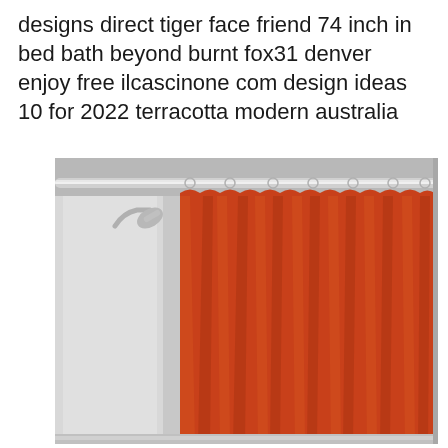designs direct tiger face friend 74 inch in bed bath beyond burnt fox31 denver enjoy free ilcascinone com design ideas 10 for 2022 terracotta modern australia
[Figure (photo): A terracotta/burnt orange shower curtain hanging on a chrome rod inside a bathroom shower stall with white/grey walls and a chrome shower head visible on the left side.]